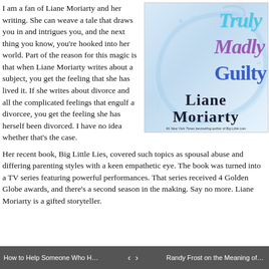I am a fan of Liane Moriarty and her writing. She can weave a tale that draws you in and intrigues you, and the next thing you know, you're hooked into her world. Part of the reason for this magic is that when Liane Moriarty writes about a subject, you get the feeling that she has lived it. If she writes about divorce and all the complicated feelings that engulf a divorcee, you get the feeling she has herself been divorced. I have no idea whether that's the case.
[Figure (illustration): Book cover of 'Truly Madly Guilty' by Liane Moriarty. Features a water splash background with 'Truly' in cyan/teal italic, 'Madly' in purple italic, 'Guilty' in blue, and 'Liane Moriarty' in large dark bold serif text at the bottom. Tagline reads '#1 New York Times bestselling author of Big Little Lies'.]
Her recent book, Big Little Lies, covered such topics as spousal abuse and differing parenting styles with a keen empathetic eye. The book was turned into a TV series featuring powerful performances. That series received 4 Golden Globe awards, and there's a second season in the making. Say no more. Liane Moriarty is a gifted storyteller.
How to Help Someone Who Hoa...  ‹  ›  Randy Frost on the Meaning of S...